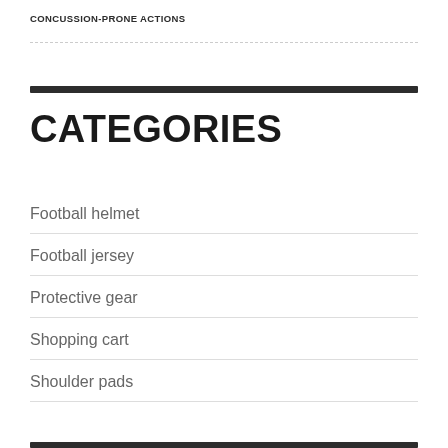CONCUSSION-PRONE ACTIONS
CATEGORIES
Football helmet
Football jersey
Protective gear
Shopping cart
Shoulder pads